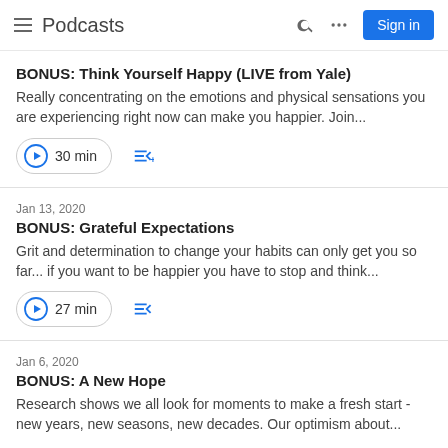Podcasts
BONUS: Think Yourself Happy (LIVE from Yale)
Really concentrating on the emotions and physical sensations you are experiencing right now can make you happier. Join...
30 min
Jan 13, 2020
BONUS: Grateful Expectations
Grit and determination to change your habits can only get you so far... if you want to be happier you have to stop and think...
27 min
Jan 6, 2020
BONUS: A New Hope
Research shows we all look for moments to make a fresh start - new years, new seasons, new decades. Our optimism about...